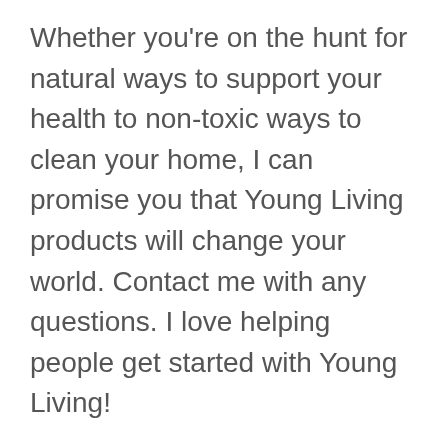Whether you're on the hunt for natural ways to support your health to non-toxic ways to clean your home, I can promise you that Young Living products will change your world. Contact me with any questions. I love helping people get started with Young Living!
Health and Wellness, Organic Cooking
Using Oils Since October 15, 2015